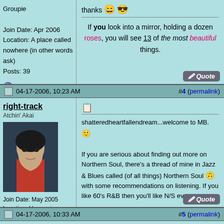Groupie
Join Date: Apr 2006
Location: A place called nowhere (in other words ask)
Posts: 39
thanks
If you look into a mirror, holding a dozen roses, you will see 13 of the most beautiful things.
04-17-2006, 10:23 AM  #4 (permalink)
right-track
Atchin' Akai
Join Date: May 2005
Location: Unamerica
Posts: 8,698
shatteredheartfallendream...welcome to MB. :) If you are serious about finding out more on Northern Soul, there's a thread of mine in Jazz & Blues called (of all things) Northern Soul with some recommendations on listening. If you like 60's R&B then you'll like N/S even more.
04-17-2006, 10:33 AM  #5 (permalink)
shatteredheartfallendream